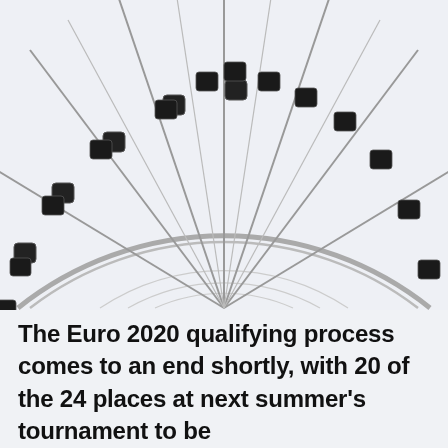[Figure (illustration): Top half of a Ferris wheel rendered in monochrome against a light blue-grey background. The semicircle shows the wheel's outer rim, spoke structure, inner concentric arcs, and approximately 13 gondola/cabin cars hanging from the rim across the visible arc.]
The Euro 2020 qualifying process comes to an end shortly, with 20 of the 24 places at next summer's tournament to be